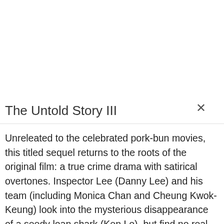The Untold Story III
Unreleated to the celebrated pork-bun movies, this titled sequel returns to the roots of the original film: a true crime drama with satirical overtones. Inspector Lee (Danny Lee) and his team (including Monica Chan and Cheung Kwok-Keung) look into the mysterious disappearance of a seedy loan shark (Ken Lo), but find no real leads. Amazingly, the culprits fall into their laps. Four young men, led by Wong Wing-Man (Sam Lee) confess to the killing. Apparently, ...
Read more
[Figure (photo): Bottom portion showing a woman's face on the left and a ghostly figure on a green background]